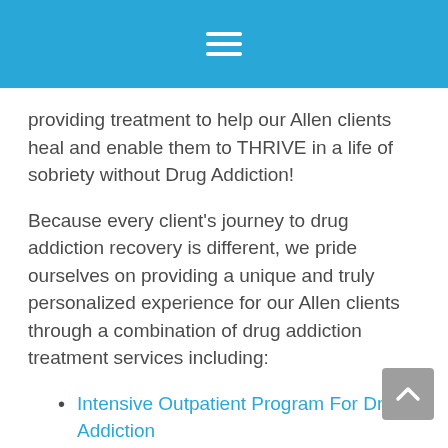≡
providing treatment to help our Allen clients heal and enable them to THRIVE in a life of sobriety without Drug Addiction!
Because every client's journey to drug addiction recovery is different, we pride ourselves on providing a unique and truly personalized experience for our Allen clients through a combination of drug addiction treatment services including:
Intensive Outpatient Program For Drug Addiction
Individual Therapy for Drug Addiction
Group Therapy for Drug Addiction